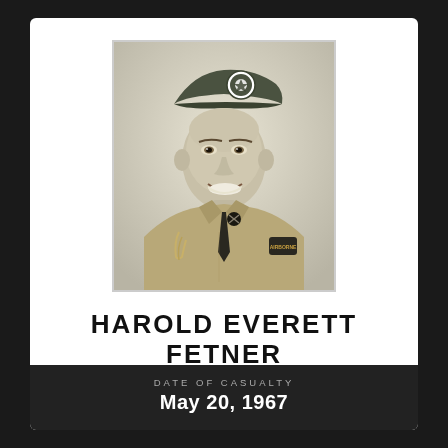[Figure (photo): Black and white military portrait photograph of a young man in U.S. Army uniform wearing a garrison cap with insignia and an Airborne patch on the sleeve, smiling at the camera.]
HAROLD EVERETT FETNER
DATE OF CASUALTY
May 20, 1967